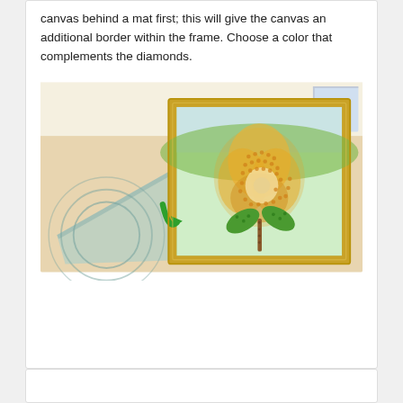canvas behind a mat first; this will give the canvas an additional border within the frame. Choose a color that complements the diamonds.
[Figure (illustration): Illustration showing a diamond painting of a rose in a gold frame leaning on a surface, with a gray mat board nearby and a green arrow indicating placing the mat behind the canvas.]